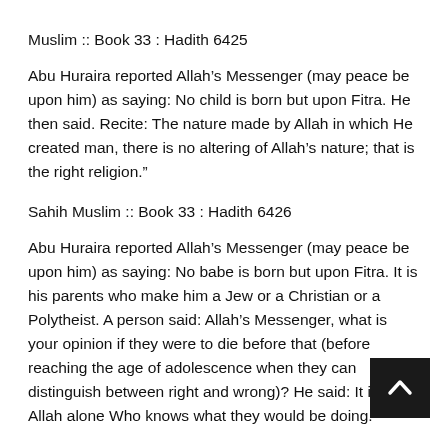Muslim :: Book 33 : Hadith 6425
Abu Huraira reported Allah’s Messenger (may peace be upon him) as saying: No child is born but upon Fitra. He then said. Recite: The nature made by Allah in which He created man, there is no altering of Allah’s nature; that is the right religion.”
Sahih Muslim :: Book 33 : Hadith 6426
Abu Huraira reported Allah’s Messenger (may peace be upon him) as saying: No babe is born but upon Fitra. It is his parents who make him a Jew or a Christian or a Polytheist. A person said: Allah’s Messenger, what is your opinion if they were to die before that (before reaching the age of adolescence when they can distinguish between right and wrong)? He said: It is Allah alone Who knows what they would be doing.